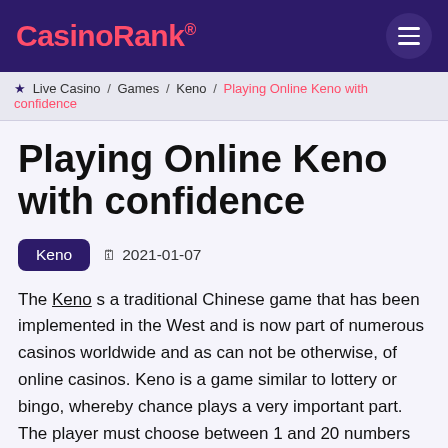CasinoRank®
★ Live Casino / Games / Keno / Playing Online Keno with confidence
Playing Online Keno with confidence
Keno   2021-01-07
The Keno s a traditional Chinese game that has been implemented in the West and is now part of numerous casinos worldwide and as can not be otherwise, of online casinos. Keno is a game similar to lottery or bingo, whereby chance plays a very important part. The player must choose between 1 and 20 numbers on a card from a total of 80 numbers. The more matches, the more money you